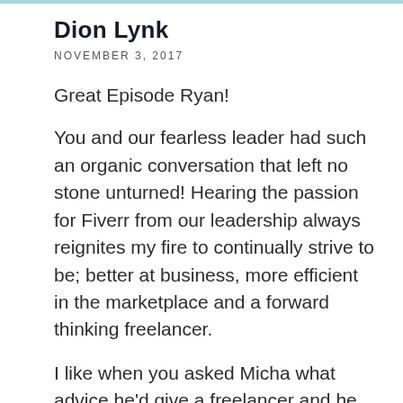Dion Lynk
NOVEMBER 3, 2017
Great Episode Ryan!
You and our fearless leader had such an organic conversation that left no stone unturned! Hearing the passion for Fiverr from our leadership always reignites my fire to continually strive to be; better at business, more efficient in the marketplace and a forward thinking freelancer.
I like when you asked Micha what advice he'd give a freelancer and he spoke on how scaling down services